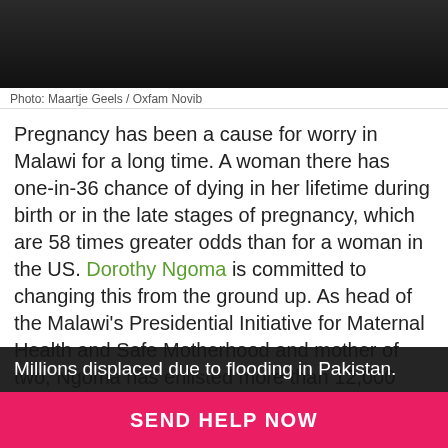[Figure (photo): Dark photograph showing hands of people, partially visible at top of page]
Photo: Maartje Geels / Oxfam Novib
Pregnancy has been a cause for worry in Malawi for a long time. A woman there has one-in-36 chance of dying in her lifetime during birth or in the late stages of pregnancy, which are 58 times greater odds than for a woman in the US. Dorothy Ngoma is committed to changing this from the ground up. As head of the Malawi's Presidential Initiative for Maternal Health and Safe Motherhood and mother of two, Ngoma has enlisted more than 12,000 chiefs in the country to change harmful traditions and improve the
Millions displaced due to flooding in Pakistan.
SEND HELP NOW